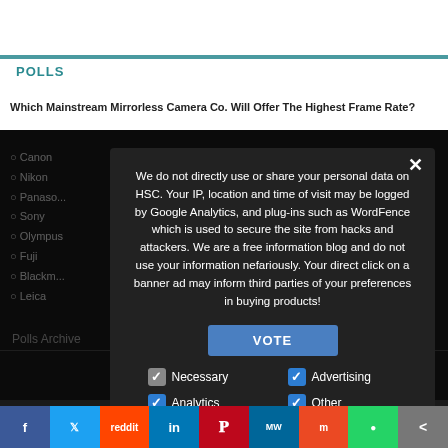POLLS
Which Mainstream Mirrorless Camera Co. Will Offer The Highest Frame Rate?
Canon
Nikon
Panasonic
Sony
Olympus
Fuji
Blackmagic
Leica
We do not directly use or share your personal data on HSC. Your IP, location and time of visit may be logged by Google Analytics, and plug-ins such as WordFence which is used to secure the site from hacks and attackers. We are a free information blog and do not use your information nefariously. Your direct click on a banner ad may inform third parties of your preferences in buying products!
Necessary
Advertising
Analytics
Other
Privacy Preferences
I Agree
Polls Archive
f  Twitter  Reddit  in  Pinterest  MW  Mix  WhatsApp  Share